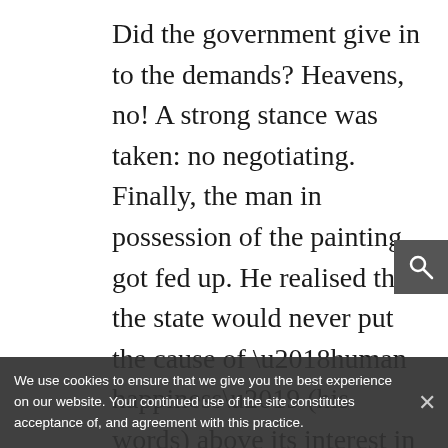Did the government give in to the demands? Heavens, no! A strong stance was taken: no negotiating. Finally, the man in possession of the painting got fed up. He realised that the state would never put the cause of ‘human happiness’ (his words) above its interest in retaining old and useless art. And so four years after the theft, he phoned in an anonymous tip informing the authorities where they could find the painting: in a left-luggage locker at Birmingham New Street Station. And it was there. Four months later, the man confessed to the...
We use cookies to ensure that we give you the best experience on our website. Your continued use of the site constitutes acceptance of, and agreement with this practice.